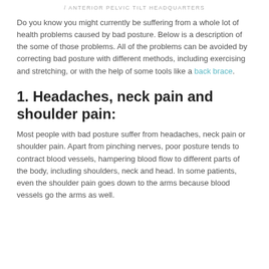/ ANTERIOR PELVIC TILT HEADQUARTERS
Do you know you might currently be suffering from a whole lot of health problems caused by bad posture. Below is a description of the some of those problems. All of the problems can be avoided by correcting bad posture with different methods, including exercising and stretching, or with the help of some tools like a back brace.
1. Headaches, neck pain and shoulder pain:
Most people with bad posture suffer from headaches, neck pain or shoulder pain. Apart from pinching nerves, poor posture tends to contract blood vessels, hampering blood flow to different parts of the body, including shoulders, neck and head. In some patients, even the shoulder pain goes down to the arms because blood vessels go the arms as well.